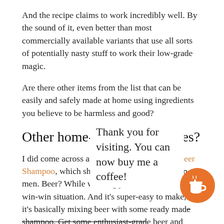And the recipe claims to work incredibly well. By the sound of it, even better than most commercially available variants that use all sorts of potentially nasty stuff to work their low-grade magic.
Are there other items from the list that can be easily and safely made at home using ingredients you believe to be harmless and good?
Other home-made possibilities?
I did come across an easy recipe for making Beer Shampoo, which should interest a large portion of men. Beer? While washing your hair, sounds like a win-win situation. And it's super-easy to make, as it's basically mixing beer with some ready made shampoo. Get some enthusiast-grade beer and some kno[wledge] and available) [shampoo that's widely], ma[ke great] Xmas gifts[...]
In the class of products that are much less involved than you